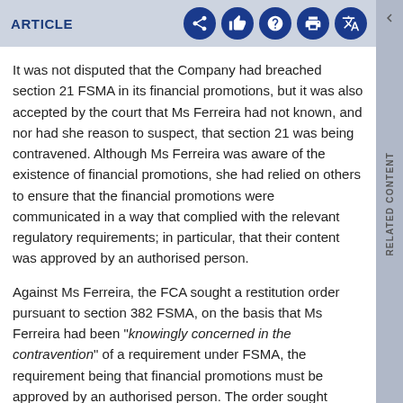ARTICLE
It was not disputed that the Company had breached section 21 FSMA in its financial promotions, but it was also accepted by the court that Ms Ferreira had not known, and nor had she reason to suspect, that section 21 was being contravened. Although Ms Ferreira was aware of the existence of financial promotions, she had relied on others to ensure that the financial promotions were communicated in a way that complied with the relevant regulatory requirements; in particular, that their content was approved by an authorised person.
Against Ms Ferreira, the FCA sought a restitution order pursuant to section 382 FSMA, on the basis that Ms Ferreira had been "knowingly concerned in the contravention" of a requirement under FSMA, the requirement being that financial promotions must be approved by an authorised person. The order sought against Ms Ferreira was for a payment of around £2.7m to the FCA for the benefit of the Company's investors.